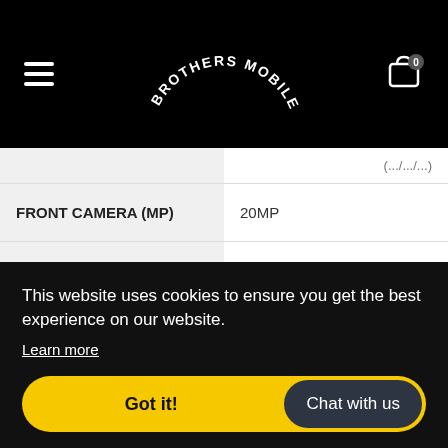[Figure (logo): Brothers Mobiles logo with text arranged in an arc/smile shape on black header bar]
| Attribute | Value |
| --- | --- |
| FRONT CAMERA (MP) | 20MP |
| BUILT-IN FLASH | Yes |
This website uses cookies to ensure you get the best experience on our website.
Learn more
Got it!
Chat with us